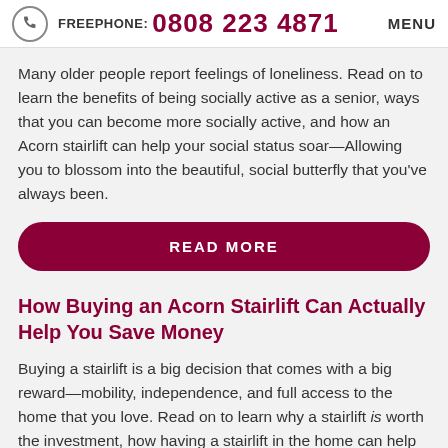FREEPHONE: 0808 223 4871  MENU
Many older people report feelings of loneliness. Read on to learn the benefits of being socially active as a senior, ways that you can become more socially active, and how an Acorn stairlift can help your social status soar—Allowing you to blossom into the beautiful, social butterfly that you've always been.
READ MORE
How Buying an Acorn Stairlift Can Actually Help You Save Money
Buying a stairlift is a big decision that comes with a big reward—mobility, independence, and full access to the home that you love. Read on to learn why a stairlift is worth the investment, how having a stairlift in the home can help you save money, and how you can save even more money when you choose to go with Acorn Stairlifts.